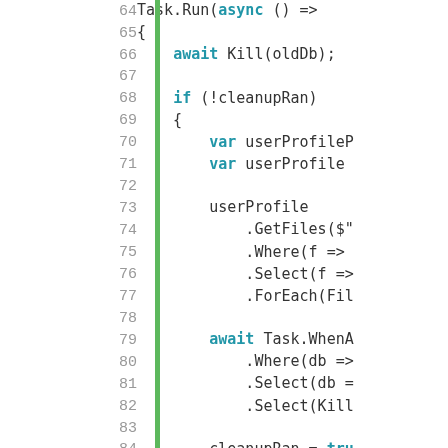[Figure (screenshot): Code editor screenshot showing C# async code lines 64-89 with line numbers on the left, a green vertical bar separator, and syntax-highlighted code on the right. Keywords like async, await, var, if, return are highlighted in teal/blue-bold. Code includes Task.Run, Kill, cleanupRan, userProfile, GetFiles, Where, Select, ForEach, Task.WhenAll, cleanupRan=true, return Task.CompletedTask.]